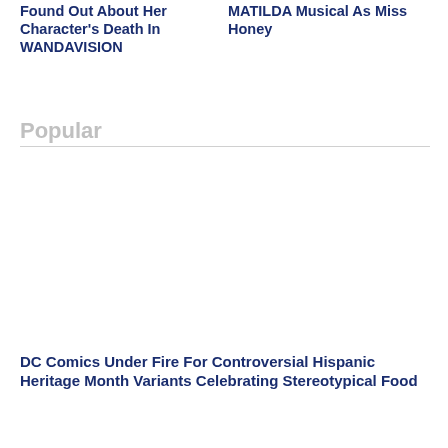Found Out About Her Character's Death In WANDAVISION
MATILDA Musical As Miss Honey
Popular
DC Comics Under Fire For Controversial Hispanic Heritage Month Variants Celebrating Stereotypical Food